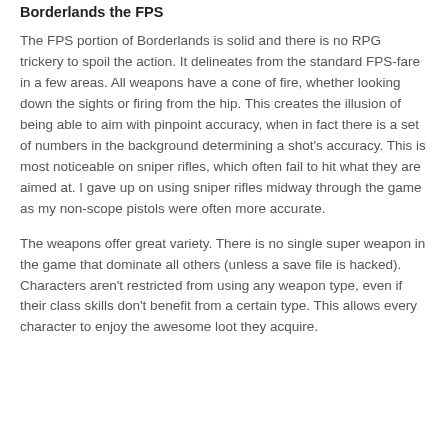Borderlands the FPS
The FPS portion of Borderlands is solid and there is no RPG trickery to spoil the action. It delineates from the standard FPS-fare in a few areas. All weapons have a cone of fire, whether looking down the sights or firing from the hip. This creates the illusion of being able to aim with pinpoint accuracy, when in fact there is a set of numbers in the background determining a shot's accuracy. This is most noticeable on sniper rifles, which often fail to hit what they are aimed at. I gave up on using sniper rifles midway through the game as my non-scope pistols were often more accurate.
The weapons offer great variety. There is no single super weapon in the game that dominate all others (unless a save file is hacked). Characters aren't restricted from using any weapon type, even if their class skills don't benefit from a certain type. This allows every character to enjoy the awesome loot they acquire.